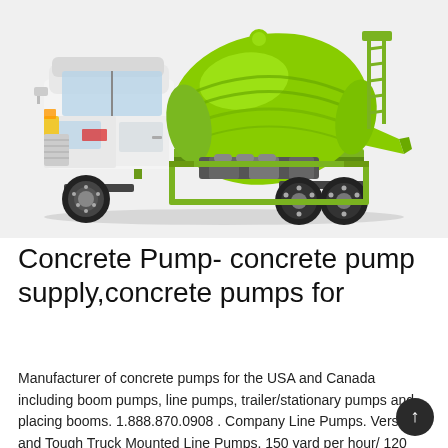[Figure (photo): A concrete mixer truck with a white cab and a bright lime-green rotating drum mounted on the back, shown against a white/light grey background.]
Concrete Pump- concrete pump supply,concrete pumps for
Manufacturer of concrete pumps for the USA and Canada including boom pumps, line pumps, trailer/stationary pumps and placing booms. 1.888.870.0908 . Company Line Pumps. Versatile and Tough Truck Mounted Line Pumps. 150 yard per hour/ 120 cubic meter high pre JFS-12H.